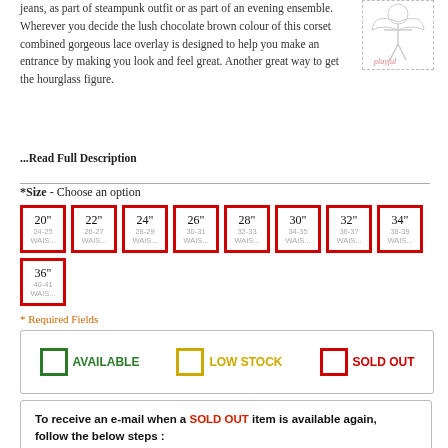jeans, as part of steampunk outfit or as part of an evening ensemble. Wherever you decide the lush chocolate brown colour of this corset combined gorgeous lace overlay is designed to help you make an entrance by making you look and feel great. Another great way to get the hourglass figure.
[Figure (logo): Playful fairy/logo illustration with text 'playful' in decorative style, dashed border]
...Read Full Description
*Size - Choose an option
[Figure (other): Size selection grid with 9 options (all sold out, red border): 20" 24-25 WAIST, 22" 26-27 WAIST, 24" 28-29 WAIST, 26" 30-31 WAIST, 28" 32-33 WAIST, 30" 34-35 WAIST, 32" 36-37 WAIST, 34" 38-39 WAIST, 36" 40-41 WAIST]
* Required Fields
[Figure (infographic): Legend showing three colored squares: green=AVAILABLE, yellow/gold=LOW STOCK, red=SOLD OUT]
To receive an e-mail when a SOLD OUT item is available again, follow the below steps :